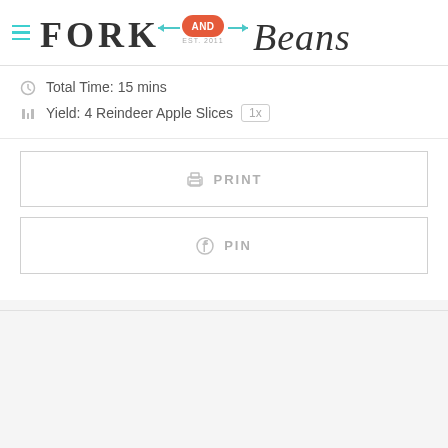[Figure (logo): Fork and Beans logo with teal hamburger menu icon, fork-and-arrow motif, orange-red AND heart badge, EST. 2011 text, and hand-lettered Beans text]
Total Time: 15 mins
Yield: 4 Reindeer Apple Slices  1x
PRINT
PIN